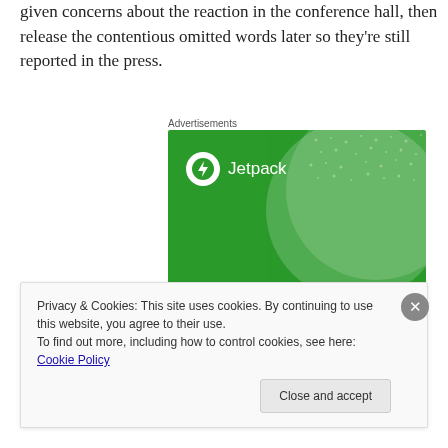given concerns about the reaction in the conference hall, then release the contentious omitted words later so they're still reported in the press.
Advertisements
[Figure (illustration): Jetpack advertisement: green background with large translucent circle and dot pattern, Jetpack logo (lightning bolt in white circle) with brand name, headline text: The best real-time WordPress backup plugin]
Privacy & Cookies: This site uses cookies. By continuing to use this website, you agree to their use.
To find out more, including how to control cookies, see here: Cookie Policy